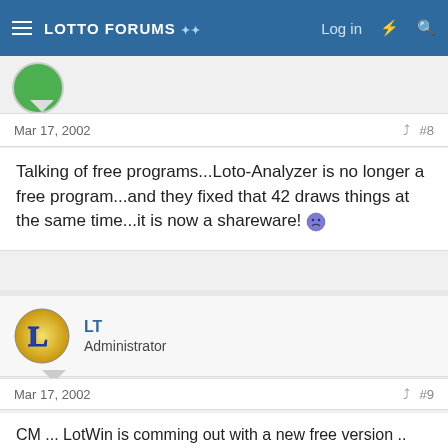Lotto Forums | Log in
Mar 17, 2002 #8
Talking of free programs...Loto-Analyzer is no longer a free program...and they fixed that 42 draws things at the same time...it is now a shareware!
LT
Administrator
Mar 17, 2002 #9
CM ... LotWin is comming out with a new free version .. check announcements for details.
Brad ... glad you like the smilies .. I'll get some more as we need a hot as well as a cold
DB ... yes that is a loss